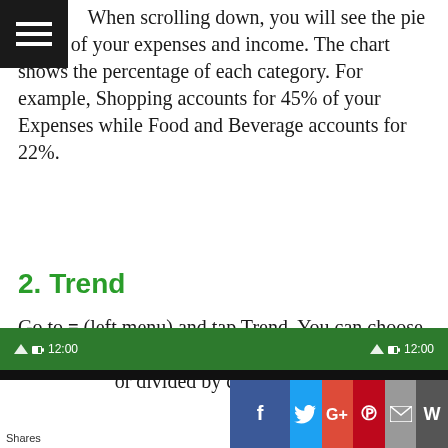When scrolling down, you will see the pie charts of your expenses and income. The chart shows the percentage of each category. For example, Shopping accounts for 45% of your Expenses while Food and Beverage accounts for 22%.
2. Trend
Go to ≡ (left menu) and tap Trend. You can choose to see your Expense, Income or Net Income month over month or divided by categories.
[Figure (screenshot): Bottom portion of a mobile app screenshot showing a dark green status bar with time (12:00) and signal/battery icons on both sides, followed by a dark divider bar and social sharing buttons (Facebook, Twitter, Google+, Pinterest, Email, and another button). A 'Shares' label appears at bottom left.]